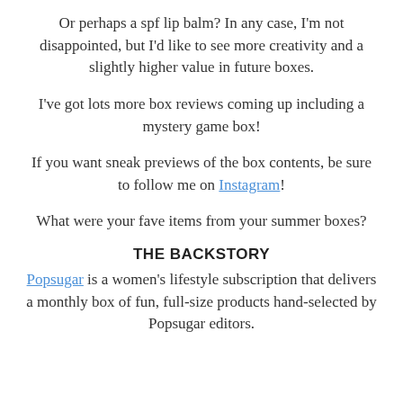Or perhaps a spf lip balm? In any case, I'm not disappointed, but I'd like to see more creativity and a slightly higher value in future boxes.
I've got lots more box reviews coming up including a mystery game box!
If you want sneak previews of the box contents, be sure to follow me on Instagram!
What were your fave items from your summer boxes?
THE BACKSTORY
Popsugar is a women's lifestyle subscription that delivers a monthly box of fun, full-size products hand-selected by Popsugar editors.